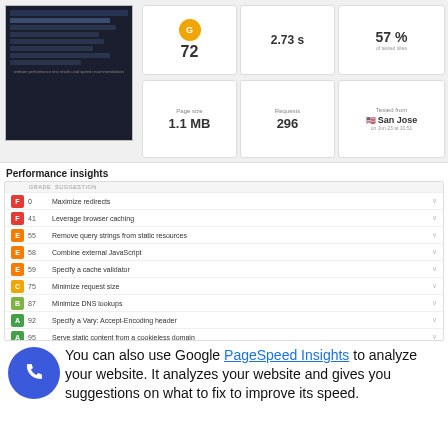[Figure (screenshot): Screenshot of a website performance tool showing metrics: score 72, 2.73s load time, 57% of tested sites, Page size 1.1MB, Requests 296, Tested from San Jose on Jun 23 at 10:51]
Performance insights
| GRADE | SUGGESTION |
| --- | --- |
| F 0 | Maximize redirects |
| F 41 | Leverage browser caching |
| E 55 | Remove query strings from static resources |
| E 58 | Combine external JavaScript |
| E 59 | Specify a cache validator |
| C 75 | Minimize request size |
| B 87 | Minimize DNS lookups |
| A 92 | Specify a Vary: Accept-Encoding header |
| A 95 | Serve static content from a cookieless domain |
| A 100 | Parallelize downloads across hostnames |
| A 100 | Combine external CSS |
| A 100 | Avoid bad requests |
You can also use Google PageSpeed Insights to analyze your website. It analyzes your website and gives you suggestions on what to fix to improve its speed.